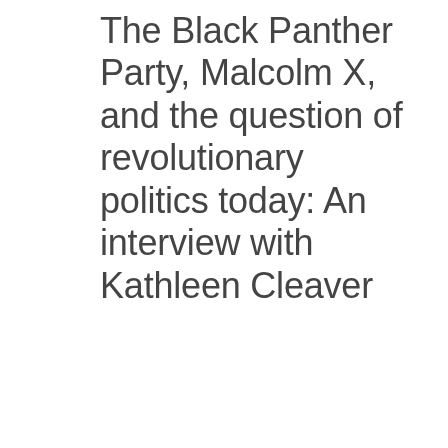The Black Panther Party, Malcolm X, and the question of revolutionary politics today: An interview with Kathleen Cleaver